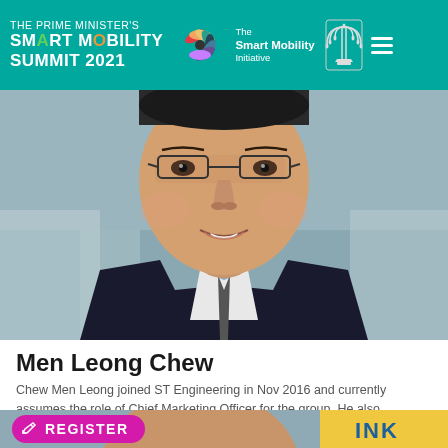THE PRIME MINISTER'S SMART MOBILITY SUMMIT 2021 | The Smart Mobility Initiative
[Figure (photo): Close-up photo of Men Leong Chew, a man wearing glasses and a dark suit, cropped from forehead to chin]
Men Leong Chew
Chew Men Leong joined ST Engineering in Nov 2016 and currently assumes the role of Chief Marketing Officer for the group. He also concurrently holds
READ MORE »
[Figure (photo): Partial photo of another person at the bottom of the page, with text 'INK' visible]